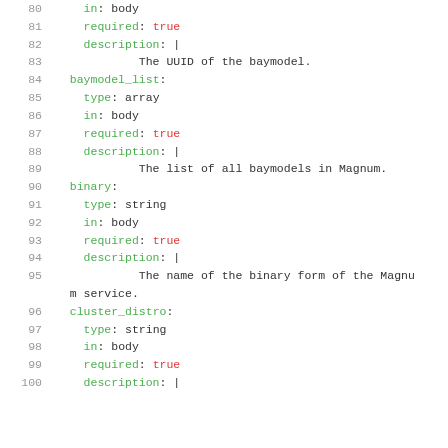Code listing lines 80-100: YAML API parameter definitions for baymodel_list, binary, and cluster_distro fields